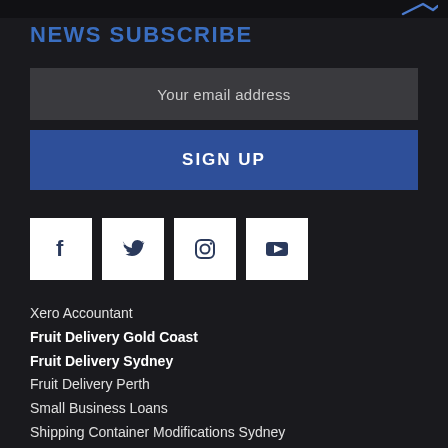NEWS SUBSCRIBE
Your email address
SIGN UP
[Figure (other): Social media icons: Facebook, Twitter, Instagram, YouTube — white square buttons on dark background]
Xero Accountant
Fruit Delivery Gold Coast
Fruit Delivery Sydney
Fruit Delivery Perth
Small Business Loans
Shipping Container Modifications Sydney
Shipping Container Sydney